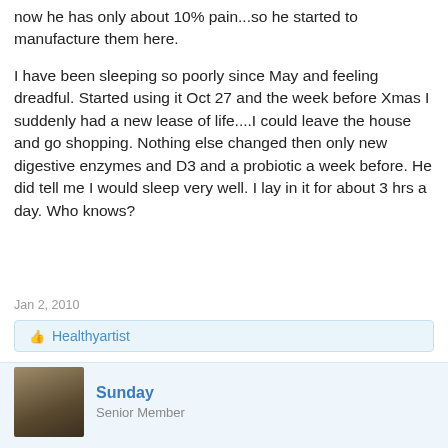now he has only about 10% pain...so he started to manufacture them here.
I have been sleeping so poorly since May and feeling dreadful. Started using it Oct 27 and the week before Xmas I suddenly had a new lease of life....I could leave the house and go shopping. Nothing else changed then only new digestive enzymes and D3 and a probiotic a week before. He did tell me I would sleep very well. I lay in it for about 3 hrs a day. Who knows?
Jan 2, 2010
Healthyartist
Sunday
Senior Member
Susan, I'd be very curious to know the name of the German machine you have, it sounds worth looking into (I also have a friend with Lyme's and a bro-in-law who is having problems